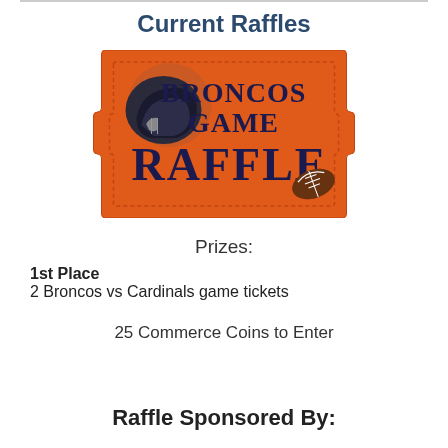Current Raffles
[Figure (illustration): Orange raffle ticket graphic with a Broncos football helmet and the text 'Broncos Game RAFFLE' on it, with a football in the lower right corner]
Prizes:
1st Place
2 Broncos vs Cardinals game tickets
25 Commerce Coins to Enter
Learn More & Participate
Raffle Sponsored By: